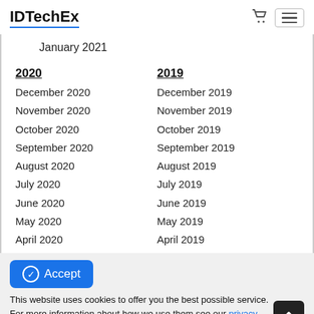IDTechEx
January 2021
2020
2019
December 2020
December 2019
November 2020
November 2019
October 2020
October 2019
September 2020
September 2019
August 2020
August 2019
July 2020
July 2019
June 2020
June 2019
May 2020
May 2019
April 2020
April 2019
This website uses cookies to offer you the best possible service. For more information about how we use them see our privacy policy.